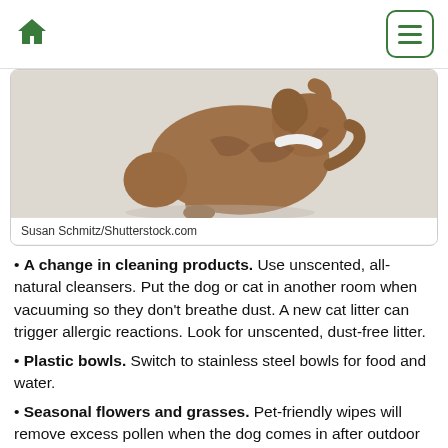Home / Menu
[Figure (photo): A brindle dog sitting and scratching itself against a white background. Credit: Susan Schmitz/Shutterstock.com]
Susan Schmitz/Shutterstock.com
A change in cleaning products. Use unscented, all-natural cleansers. Put the dog or cat in another room when vacuuming so they don't breathe dust. A new cat litter can trigger allergic reactions. Look for unscented, dust-free litter.
Plastic bowls. Switch to stainless steel bowls for food and water.
Seasonal flowers and grasses. Pet-friendly wipes will remove excess pollen when the dog comes in after outdoor time. A twice-weekly bath during the worst of